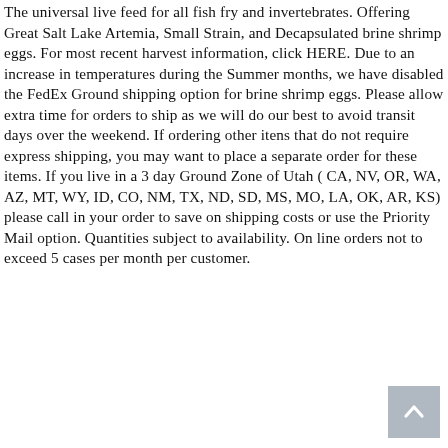The universal live feed for all fish fry and invertebrates. Offering Great Salt Lake Artemia, Small Strain, and Decapsulated brine shrimp eggs. For most recent harvest information, click HERE. Due to an increase in temperatures during the Summer months, we have disabled the FedEx Ground shipping option for brine shrimp eggs. Please allow extra time for orders to ship as we will do our best to avoid transit days over the weekend. If ordering other itens that do not require express shipping, you may want to place a separate order for these items. If you live in a 3 day Ground Zone of Utah ( CA, NV, OR, WA, AZ, MT, WY, ID, CO, NM, TX, ND, SD, MS, MO, LA, OK, AR, KS) please call in your order to save on shipping costs or use the Priority Mail option. Quantities subject to availability. On line orders not to exceed 5 cases per month per customer.
[Figure (other): A back-to-top button (grey square with upward chevron arrow)]